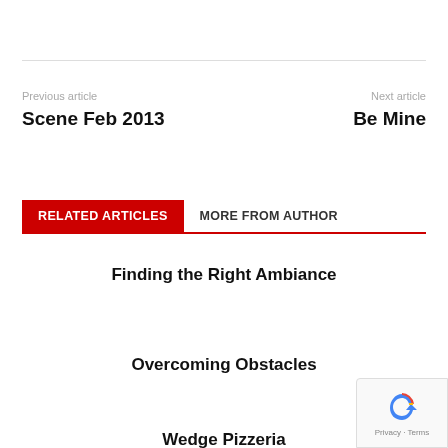Previous article
Scene Feb 2013
Next article
Be Mine
RELATED ARTICLES   MORE FROM AUTHOR
Finding the Right Ambiance
Overcoming Obstacles
Wedge Pizzeria